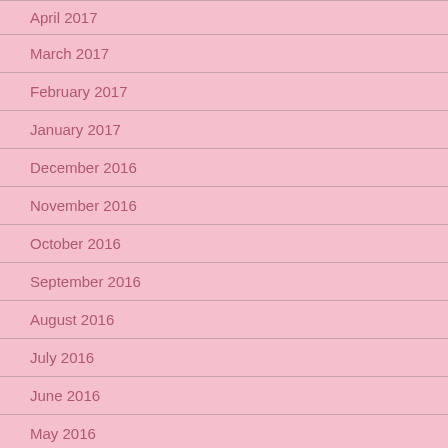April 2017
March 2017
February 2017
January 2017
December 2016
November 2016
October 2016
September 2016
August 2016
July 2016
June 2016
May 2016
April 2016
March 2016
February 2016